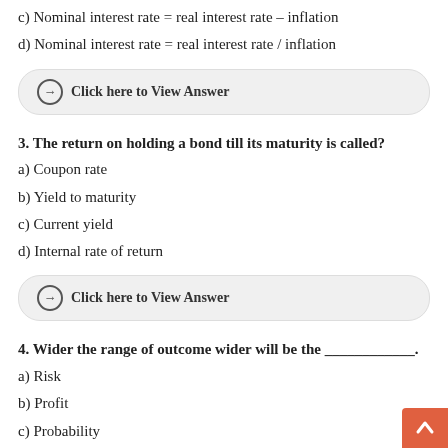c) Nominal interest rate = real interest rate – inflation
d) Nominal interest rate = real interest rate / inflation
Click here to View Answer
3. The return on holding a bond till its maturity is called?
a) Coupon rate
b) Yield to maturity
c) Current yield
d) Internal rate of return
Click here to View Answer
4. Wider the range of outcome wider will be the ____________.
a) Risk
b) Profit
c) Probability
d) Lose